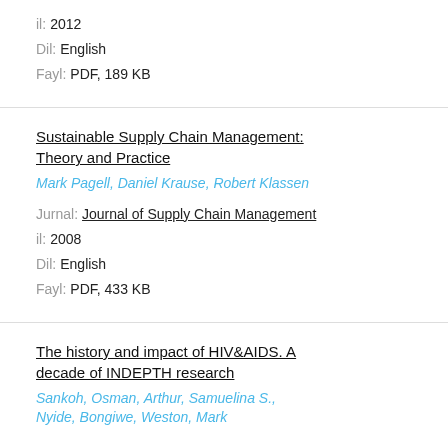il: 2012
Dil: English
Fayl: PDF, 189 KB
Sustainable Supply Chain Management: Theory and Practice
Mark Pagell, Daniel Krause, Robert Klassen
Jurnal: Journal of Supply Chain Management
il: 2008
Dil: English
Fayl: PDF, 433 KB
The history and impact of HIV&AIDS. A decade of INDEPTH research
Sankoh, Osman, Arthur, Samuelina S., Nyide, Bongiwe, Weston, Mark